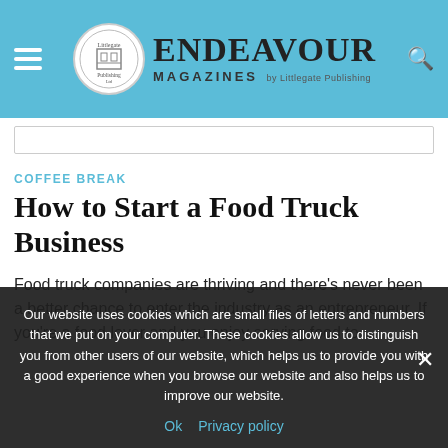Endeavour Magazines by Littlegate Publishing
COFFEE BREAK
How to Start a Food Truck Business
Food truck companies are thriving and there's never been a better chance to enter the industry as an entrepreneur. If you're a food lover and you enjoy serving food to
Our website uses cookies which are small files of letters and numbers that we put on your computer. These cookies allow us to distinguish you from other users of our website, which helps us to provide you with a good experience when you browse our website and also helps us to improve our website.
Ok  Privacy policy